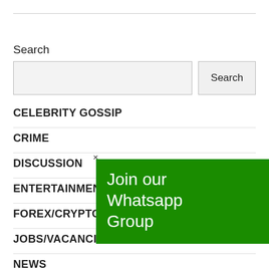Search
Search [input box] Search [button]
CELEBRITY GOSSIP
CRIME
DISCUSSION
ENTERTAINMENT
FOREX/CRYPTO
JOBS/VACANCIES
NEWS
Join our Whatsapp Group